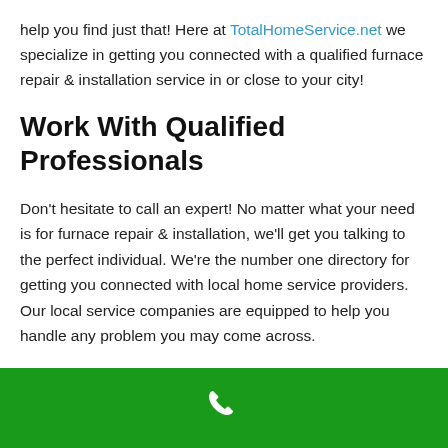help you find just that! Here at TotalHomeService.net we specialize in getting you connected with a qualified furnace repair & installation service in or close to your city!
Work With Qualified Professionals
Don't hesitate to call an expert! No matter what your need is for furnace repair & installation, we'll get you talking to the perfect individual. We're the number one directory for getting you connected with local home service providers. Our local service companies are equipped to help you handle any problem you may come across.
We only work with the most reputable service providers in your area. This means you can be positive you'll be connected with leading companies in their industry. No more hiring sketchy
[Figure (other): Green footer bar with white phone handset icon]